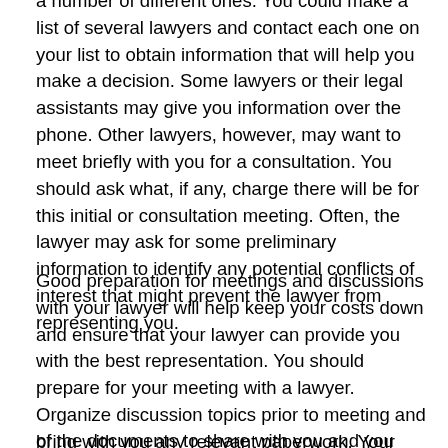a number of different ones. You could make a list of several lawyers and contact each one on your list to obtain information that will help you make a decision. Some lawyers or their legal assistants may give you information over the phone. Other lawyers, however, may want to meet briefly with you for a consultation. You should ask what, if any, charge there will be for this initial or consultation meeting. Often, the lawyer may ask for some preliminary information to identify any potential conflicts of interest that might prevent the lawyer from representing you.
Good preparation for meetings and discussions with your lawyer will help keep your costs down and ensure that your lawyer can provide you with the best representation. You should prepare for your meeting with a lawyer. Organize discussion topics prior to meeting and bring with you any relevant paperwork. Your lawyer may need some
of the documents to share with you and you may need